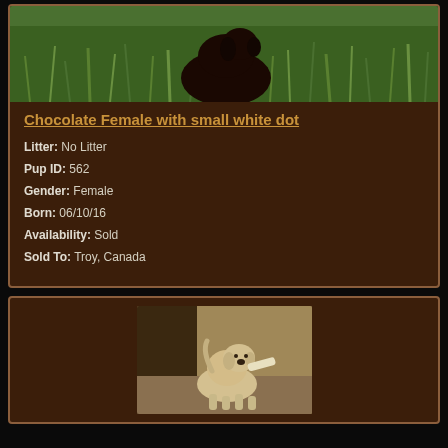[Figure (photo): Photo of a chocolate Labrador puppy in green grass, viewed from above/behind]
Chocolate Female with small white dot
Litter: No Litter
Pup ID: 562
Gender: Female
Born: 06/10/16
Availability: Sold
Sold To: Troy, Canada
[Figure (photo): Photo of a light-colored (yellow/cream) Labrador puppy standing on a floor indoors]